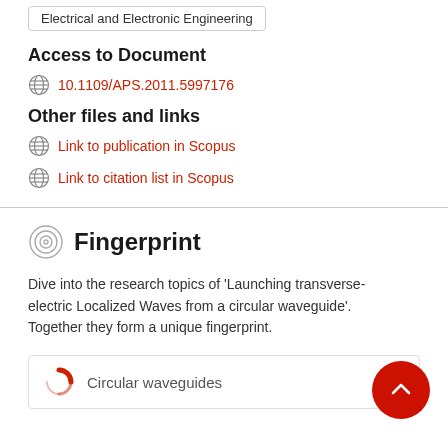Electrical and Electronic Engineering
Access to Document
10.1109/APS.2011.5997176
Other files and links
Link to publication in Scopus
Link to citation list in Scopus
Fingerprint
Dive into the research topics of 'Launching transverse-electric Localized Waves from a circular waveguide'. Together they form a unique fingerprint.
Circular waveguides